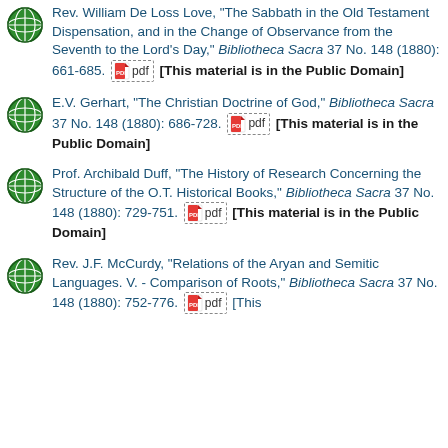Rev. William De Loss Love, "The Sabbath in the Old Testament Dispensation, and in the Change of Observance from the Seventh to the Lord's Day," Bibliotheca Sacra 37 No. 148 (1880): 661-685. [pdf] [This material is in the Public Domain]
E.V. Gerhart, "The Christian Doctrine of God," Bibliotheca Sacra 37 No. 148 (1880): 686-728. [pdf] [This material is in the Public Domain]
Prof. Archibald Duff, "The History of Research Concerning the Structure of the O.T. Historical Books," Bibliotheca Sacra 37 No. 148 (1880): 729-751. [pdf] [This material is in the Public Domain]
Rev. J.F. McCurdy, "Relations of the Aryan and Semitic Languages. V. - Comparison of Roots," Bibliotheca Sacra 37 No. 148 (1880): 752-776. [pdf] [This material is in the Public Domain]